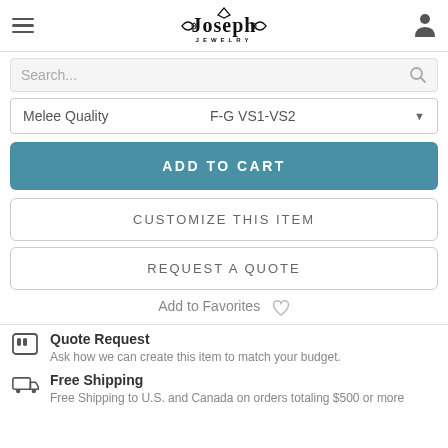Joseph Jewelry — navigation header with hamburger menu, logo, and user icon
Search...
Melee Quality   F-G VS1-VS2
ADD TO CART
CUSTOMIZE THIS ITEM
REQUEST A QUOTE
Add to Favorites ♡
Quote Request
Ask how we can create this item to match your budget.
Free Shipping
Free Shipping to U.S. and Canada on orders totaling $500 or more